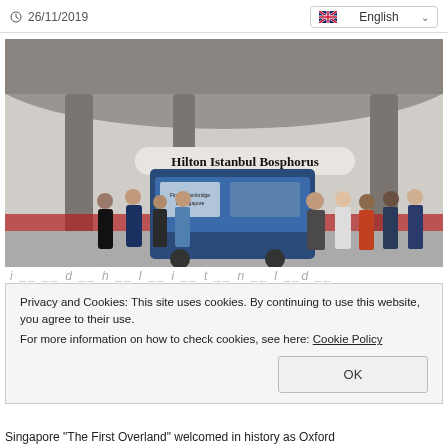26/11/2019   English
[Figure (photo): Group of people standing in front of a blue vehicle/bus at Hilton Istanbul Bosphorus hotel entrance. Text on building reads 'Hilton Istanbul Bosphorus'.]
Privacy and Cookies: This site uses cookies. By continuing to use this website, you agree to their use.
For more information on how to check cookies, see here: Cookie Policy
OK
Singapore "The First Overland" welcomed in history as Oxford